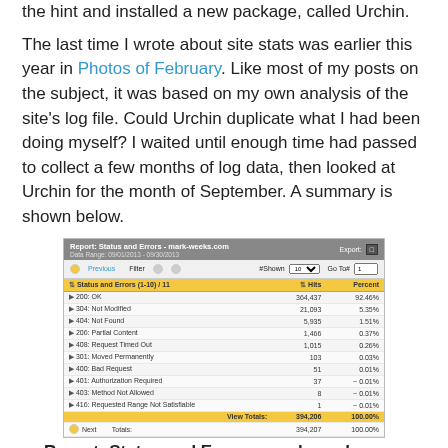the hint and installed a new package, called Urchin.
The last time I wrote about site stats was earlier this year in Photos of February. Like most of my posts on the subject, it was based on my own analysis of the site's log file. Could Urchin duplicate what I had been doing myself? I waited until enough time had passed to collect a few months of log data, then looked at Urchin for the month of September. A summary is shown below.
[Figure (screenshot): Screenshot of Urchin report titled 'Report: Status and Errors - mark-weeks.com', Data Range: 09/01/2013 - 09/30/2013. Table showing Status and Errors (1-10)/11 with columns Hits and Percent. Rows: 200: OK 364,437 92.46%; 304: Not Modified 21,093 5.35%; 404: Not Found 5,935 1.51%; 206: Partial Content 1,466 0.37%; 408: Request Timed Out 1,015 0.26%; 301: Moved Permanently 103 0.03%; 400: Bad Request 51 0.01%; 401: Authorization Required 37 ~0.01%; 403: Method Not Allowed 8 ~0.01%; 416: Requested Range Not Satisfiable 1 ~0.01%. View Totals: 394,206 100.00%. Next Totals: 394,207 100.00%.]
Report: Status and Errors - mark-weeks.com
The table gives a count of requests to the server and how